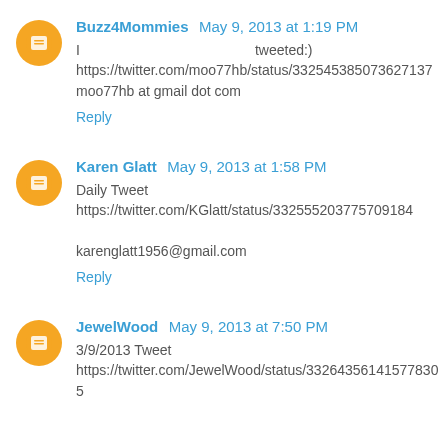Buzz4Mommies May 9, 2013 at 1:19 PM
I tweeted:)
https://twitter.com/moo77hb/status/332545385073627137
moo77hb at gmail dot com
Reply
Karen Glatt May 9, 2013 at 1:58 PM
Daily Tweet
https://twitter.com/KGlatt/status/332555203775709184
karenglatt1956@gmail.com
Reply
JewelWood May 9, 2013 at 7:50 PM
3/9/2013 Tweet
https://twitter.com/JewelWood/status/332643561415778305